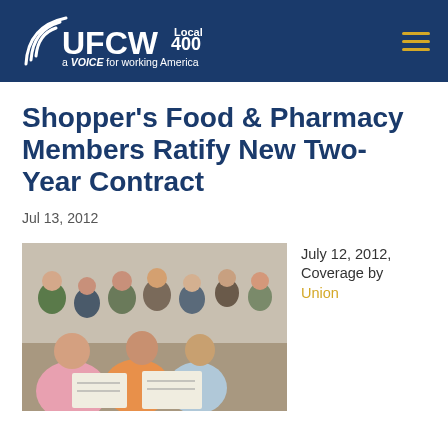UFCW Local 400 – a VOICE for working America
Shopper's Food & Pharmacy Members Ratify New Two-Year Contract
Jul 13, 2012
[Figure (photo): A large group of people seated at tables, reading documents at what appears to be a union ratification meeting.]
July 12, 2012, Coverage by Union